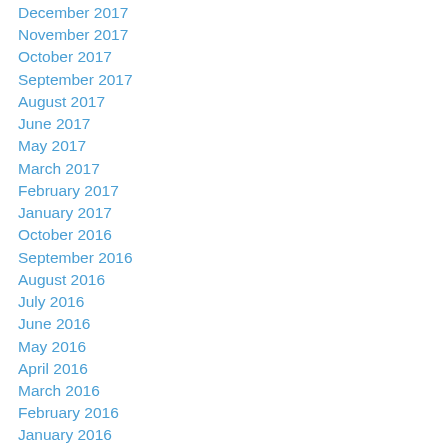December 2017
November 2017
October 2017
September 2017
August 2017
June 2017
May 2017
March 2017
February 2017
January 2017
October 2016
September 2016
August 2016
July 2016
June 2016
May 2016
April 2016
March 2016
February 2016
January 2016
December 2015